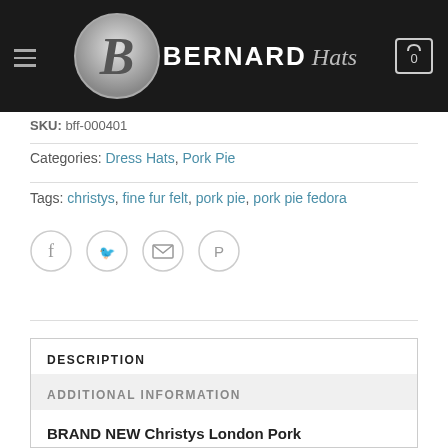BERNARD Hats
SKU: bff-000401
Categories: Dress Hats, Pork Pie
Tags: christys, fine fur felt, pork pie, pork pie fedora
[Figure (other): Social sharing icons: Facebook, Twitter, Email, Pinterest]
DESCRIPTION
ADDITIONAL INFORMATION
BRAND NEW Christys London Pork